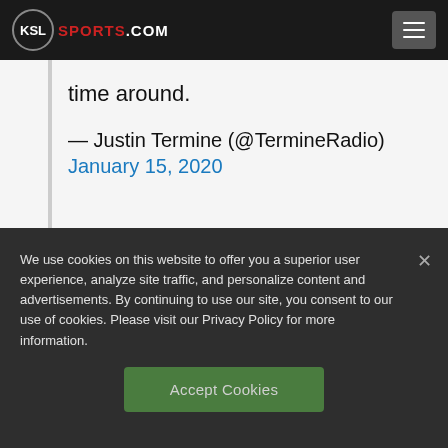KSL SPORTS.COM
time around.
— Justin Termine (@TermineRadio)
January 15, 2020
We use cookies on this website to offer you a superior user experience, analyze site traffic, and personalize content and advertisements. By continuing to use our site, you consent to our use of cookies. Please visit our Privacy Policy for more information.